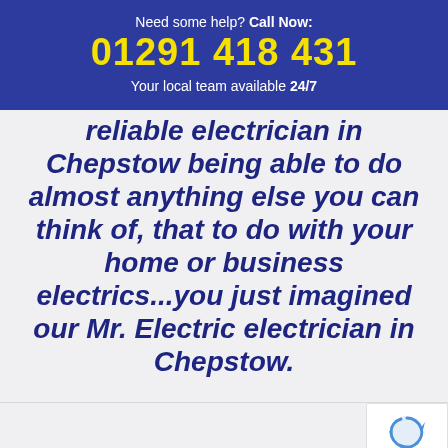Need some help? Call Now: 01291 418 431 Your local team available 24/7
reliable electrician in Chepstow being able to do almost anything else you can think of, that to do with your home or business electrics...you just imagined our Mr. Electric electrician in Chepstow.
“The electrician left my